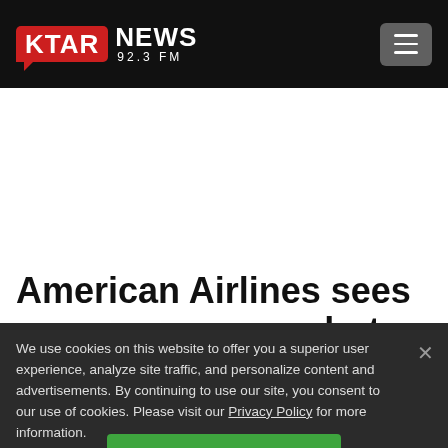KTAR NEWS 92.3 FM
[Figure (logo): KTAR News 92.3 FM logo with red KTAR badge and white NEWS text on black header bar]
American Airlines sees revenue recovery but higher
We use cookies on this website to offer you a superior user experience, analyze site traffic, and personalize content and advertisements. By continuing to use our site, you consent to our use of cookies. Please visit our Privacy Policy for more information.